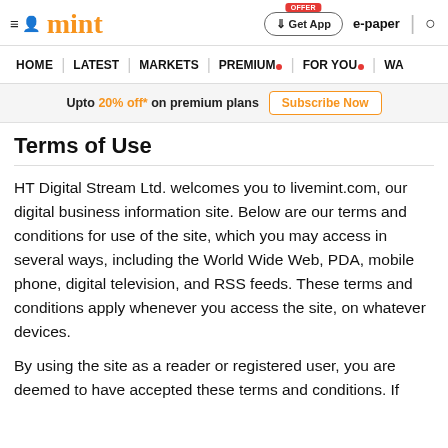mint | Get App | e-paper
HOME | LATEST | MARKETS | PREMIUM | FOR YOU | WA
Upto 20% off* on premium plans Subscribe Now
Terms of Use
HT Digital Stream Ltd. welcomes you to livemint.com, our digital business information site. Below are our terms and conditions for use of the site, which you may access in several ways, including the World Wide Web, PDA, mobile phone, digital television, and RSS feeds. These terms and conditions apply whenever you access the site, on whatever devices.
By using the site as a reader or registered user, you are deemed to have accepted these terms and conditions. If